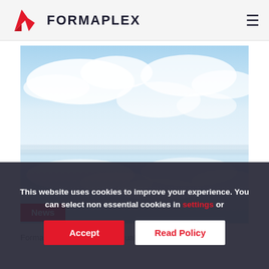[Figure (logo): Formaplex logo with red geometric arrow icon and dark text FORMAPLEX, plus hamburger menu icon on right]
[Figure (photo): Landscape photo of a salt flat with reflective water surface showing clouds and blue sky mirrored below]
News
Formaplex passes rigorous quality audits
This website uses cookies to improve your experience. You can select non essential cookies in settings or
Accept
Read Policy